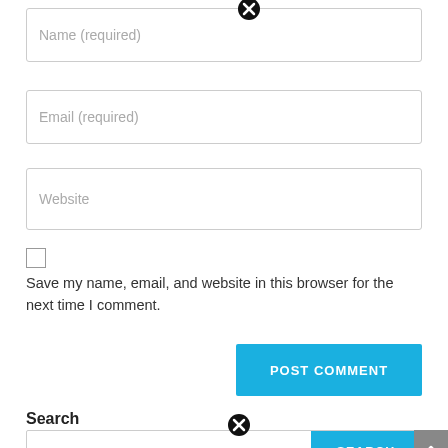[Figure (screenshot): Form field: Name (required) with an X close icon]
[Figure (screenshot): Form field: Email (required)]
[Figure (screenshot): Form field: Website]
[Figure (screenshot): Checkbox (unchecked)]
Save my name, email, and website in this browser for the next time I comment.
[Figure (screenshot): POST COMMENT button in blue]
Search
[Figure (screenshot): Search input field with SEARCH button and scroll-to-top button]